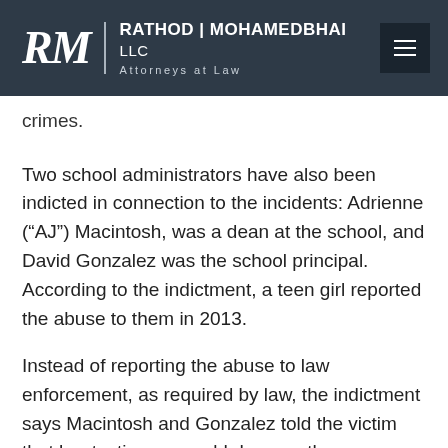RATHOD | MOHAMEDBHAI LLC Attorneys at Law
crimes.
Two school administrators have also been indicted in connection to the incidents: Adrienne (“AJ”) Macintosh, was a dean at the school, and David Gonzalez was the school principal. According to the indictment, a teen girl reported the abuse to them in 2013.
Instead of reporting the abuse to law enforcement, as required by law, the indictment says Macintosh and Gonzalez told the victim that her testimony would damage the career and life of a good teacher.